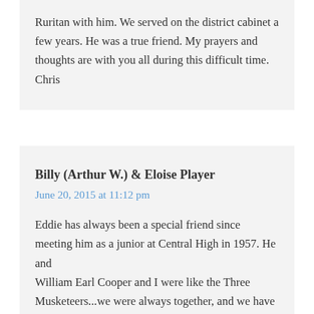Ruritan with him. We served on the district cabinet a few years. He was a true friend. My prayers and thoughts are with you all during this difficult time. Chris
Billy (Arthur W.) & Eloise Player
June 20, 2015 at 11:12 pm
Eddie has always been a special friend since meeting him as a junior at Central High in 1957. He and William Earl Cooper and I were like the Three Musketeers...we were always together, and we have